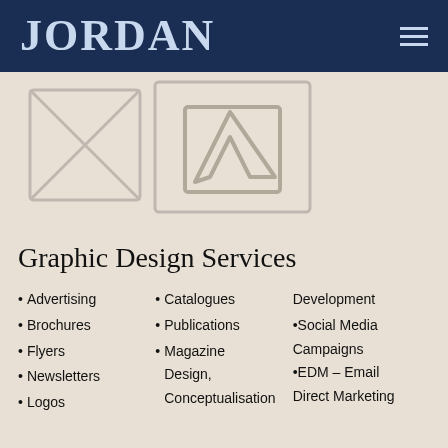JORDAN
[Figure (illustration): Decorative placeholder image area with two overlapping gray image placeholder icons on a beige/tan background]
Graphic Design Services
Advertising
Brochures
Flyers
Newsletters
Logos
Catalogues
Publications
Magazine Design, Conceptualisation
Development
Social Media Campaigns
EDM – Email Direct Marketing